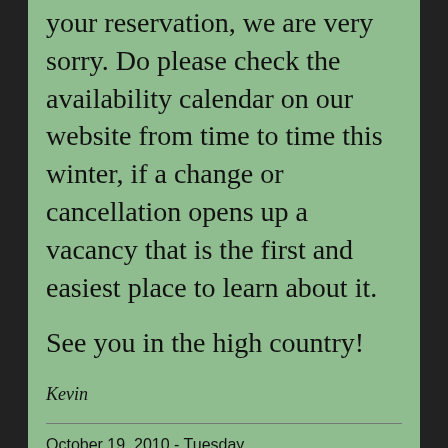your reservation, we are very sorry. Do please check the availability calendar on our website from time to time this winter, if a change or cancellation opens up a vacancy that is the first and easiest place to learn about it.
See you in the high country!
Kevin
October 19, 2010 - Tuesday
2011 reservations